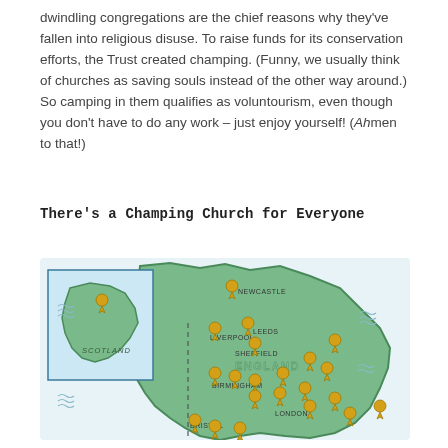dwindling congregations are the chief reasons why they've fallen into religious disuse. To raise funds for its conservation efforts, the Trust created champing. (Funny, we usually think of churches as saving souls instead of the other way around.) So camping in them qualifies as voluntourism, even though you don't have to do any work – just enjoy yourself! (Ahmen to that!)
There's a Champing Church for Everyone
[Figure (map): Illustrated map of England and Scotland showing multiple gold map pin markers indicating champing church locations. Cities labeled include Newcastle, Leeds, Liverpool, Sheffield, Birmingham, London, and Bristol. A dashed line runs through the center of England. Scotland is shown in an inset box in the upper left with a blue tint. The sea areas show decorative wave symbols.]